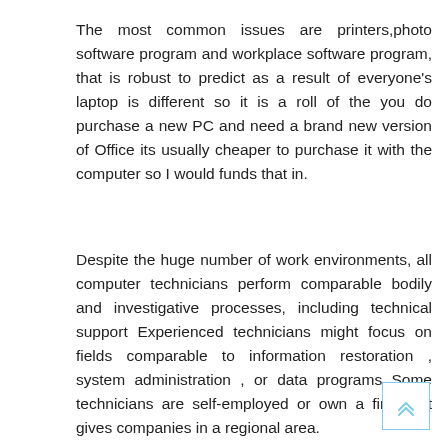The most common issues are printers,photo software program and workplace software program, that is robust to predict as a result of everyone's laptop is different so it is a roll of the you do purchase a new PC and need a brand new version of Office its usually cheaper to purchase it with the computer so I would funds that in.
Despite the huge number of work environments, all computer technicians perform comparable bodily and investigative processes, including technical support Experienced technicians might focus on fields comparable to information restoration , system administration , or data programs Some technicians are self-employed or own a firm that gives companies in a regional area.